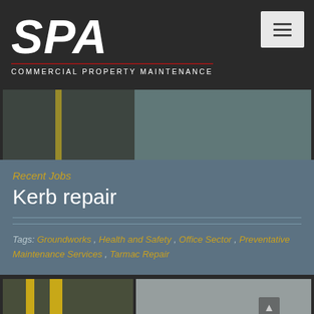[Figure (logo): SPA Commercial Property Maintenance logo — large bold italic white SPA letters with red underline, white uppercase tagline text below]
[Figure (photo): Top hero image split in two: left side shows dark tarmac road surface with yellow painted line, right side shows concrete kerb surface]
Recent Jobs
Kerb repair
Tags: Groundworks, Health and Safety, Office Sector, Preventative Maintenance Services, Tarmac Repair
[Figure (photo): Bottom image split in two: left side shows tarmac with double yellow lines, right side shows concrete kerb with upward arrow]